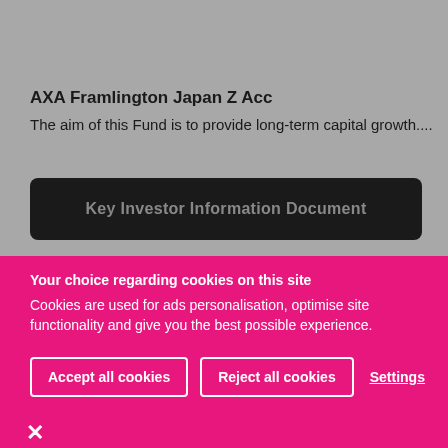AXA Framlington Japan Z Acc
The aim of this Fund is to provide long-term capital growth....
Key Investor Information Document
Your choice regarding cookies on this site
Cookies are used for ads personalisation, optimise site functionality and give you the best possible experience.
Accept all cookies
Reject all cookies
Settings
×